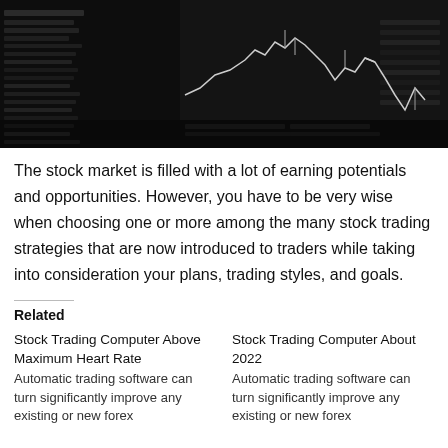[Figure (photo): Black and white photo of stock trading monitor screens showing candlestick charts and trading data]
The stock market is filled with a lot of earning potentials and opportunities. However, you have to be very wise when choosing one or more among the many stock trading strategies that are now introduced to traders while taking into consideration your plans, trading styles, and goals.
Related
Stock Trading Computer Above Maximum Heart Rate
Automatic trading software can turn significantly improve any existing or new forex
Stock Trading Computer About 2022
Automatic trading software can turn significantly improve any existing or new forex